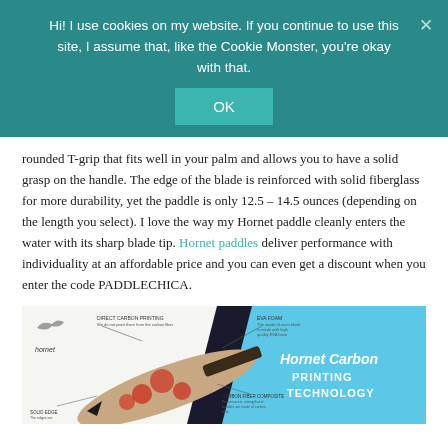Hi! I use cookies on my website. If you continue to use this site, I assume that, like the Cookie Monster, you're okay with that.
OK
rounded T-grip that fits well in your palm and allows you to have a solid grasp on the handle. The edge of the blade is reinforced with solid fiberglass for more durability, yet the paddle is only 12.5 – 14.5 ounces (depending on the length you select). I love the way my Hornet paddle cleanly enters the water with its sharp blade tip. Hornet paddles deliver performance with individuality at an affordable price and you can even get a discount when you enter the code PADDLECHICA.
[Figure (photo): Product image of Hornet Carbon paddle with floral design, with annotation labels pointing to features. Right side shows blue panel with text 'Hornet Carbon PRINTING TECHNOLOGY' and Hornet logo.]